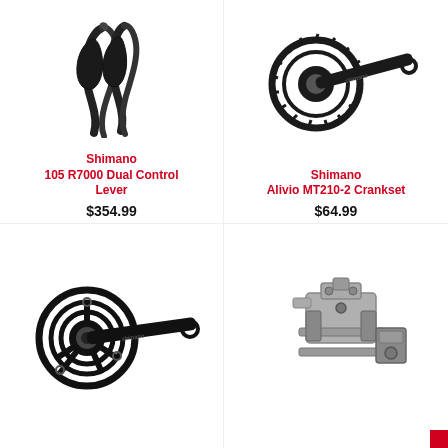[Figure (photo): Shimano 105 R7000 Dual Control Lever - pair of black bicycle brake/shift levers on white background]
Shimano
105 R7000 Dual Control Lever
$354.99
[Figure (photo): Shimano Alivio MT210-2 Crankset - black chainring and crank arm on white background]
Shimano
Alivio MT210-2 Crankset
$64.99
[Figure (photo): Shimano crankset - black double chainring crankset with crank arm on white background]
[Figure (photo): Shimano front derailleur - silver/grey front derailleur component on white background]